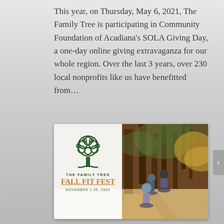This year, on Thursday, May 6, 2021, The Family Tree is participating in Community Foundation of Acadiana's SOLA Giving Day, a one-day online giving extravaganza for our whole region. Over the last 3 years, over 230 local nonprofits like us have benefitted from…
[Figure (photo): Promotional image for The Family Tree Fall Fit Fest, November 1-25, 2020. Left side has a white overlay box with a green tree logo and event name in orange text. Right side shows a family of three riding bicycles on a forest trail.]